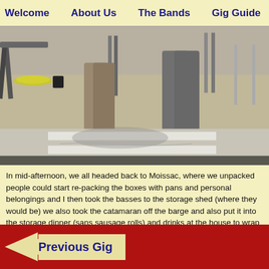Welcome    About Us    The Bands    Gig Guide
[Figure (photo): Outdoor street scene showing person's legs and feet in sandals/sneakers, standing on a crosswalk/pavement. Folding chairs and equipment visible in background.]
In mid-afternoon, we all headed back to Moissac, where we unpacked people could start re-packing the boxes with pans and personal belongings and I then took the basses to the storage shed (where they would be) we also took the catamaran off the barge and also put it into the storage dinner (sans sausage rolls) and drinks at the house to wrap up the Tour
Previous Gig